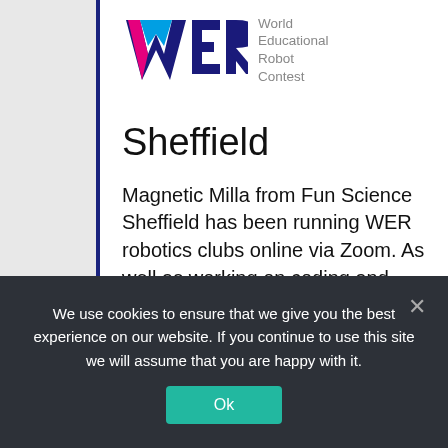[Figure (logo): WER (World Educational Robot Contest) logo with colorful W, E, R letters and text to the right reading 'World Educational Robot Contest']
Sheffield
Magnetic Milla from Fun Science Sheffield has been running WER robotics clubs online via Zoom. As well as working on coding and robotics, all of the children have been
We use cookies to ensure that we give you the best experience on our website. If you continue to use this site we will assume that you are happy with it.